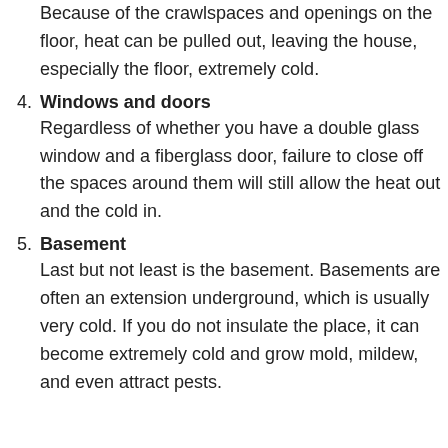Because of the crawlspaces and openings on the floor, heat can be pulled out, leaving the house, especially the floor, extremely cold.
4. Windows and doors
Regardless of whether you have a double glass window and a fiberglass door, failure to close off the spaces around them will still allow the heat out and the cold in.
5. Basement
Last but not least is the basement. Basements are often an extension underground, which is usually very cold. If you do not insulate the place, it can become extremely cold and grow mold, mildew, and even attract pests.